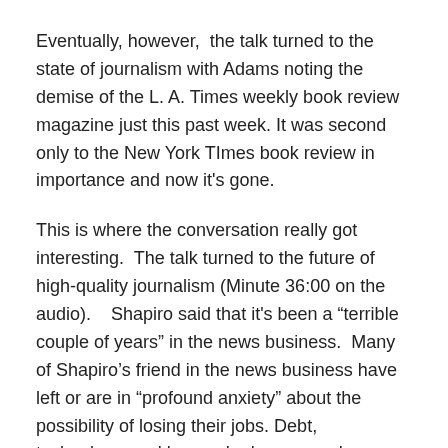Eventually, however,  the talk turned to the state of journalism with Adams noting the demise of the L. A. Times weekly book review magazine just this past week. It was second only to the New York TImes book review in importance and now it's gone.
This is where the conversation really got interesting.  The talk turned to the future of high-quality journalism (Minute 36:00 on the audio).   Shapiro said that it's been a “terrible couple of years” in the news business.  Many of Shapiro’s friend in the news business have left or are in “profound anxiety” about the possibility of losing their jobs. Debt, technology, and lowered ad revenues have created a period of “huge change” in the industry.
Continue reading →